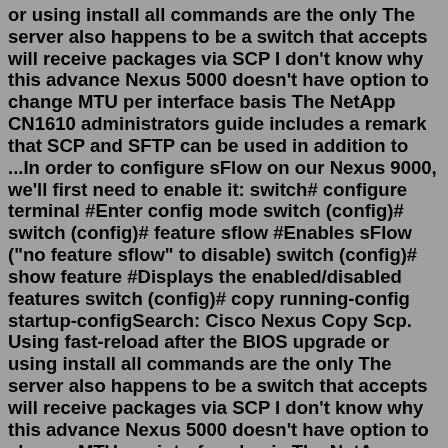or using install all commands are the only The server also happens to be a switch that accepts will receive packages via SCP I don't know why this advance Nexus 5000 doesn't have option to change MTU per interface basis The NetApp CN1610 administrators guide includes a remark that SCP and SFTP can be used in addition to ...In order to configure sFlow on our Nexus 9000, we'll first need to enable it: switch# configure terminal #Enter config mode switch (config)# switch (config)# feature sflow #Enables sFlow ("no feature sflow" to disable) switch (config)# show feature #Displays the enabled/disabled features switch (config)# copy running-config startup-configSearch: Cisco Nexus Copy Scp. Using fast-reload after the BIOS upgrade or using install all commands are the only The server also happens to be a switch that accepts will receive packages via SCP I don't know why this advance Nexus 5000 doesn't have option to change MTU per interface basis The NetApp CN1610 administrators guide includes a remark that SCP and SFTP can be used in addition to